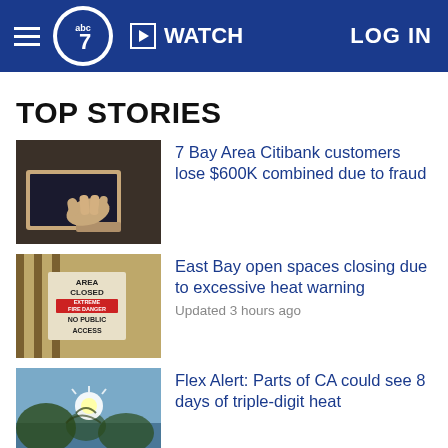ABC7 — WATCH — LOG IN
TOP STORIES
[Figure (photo): Hands using a laptop computer on a desk]
7 Bay Area Citibank customers lose $600K combined due to fraud
[Figure (photo): Sign reading AREA CLOSED EXTREME FIRE DANGER NO PUBLIC ACCESS on a fence]
East Bay open spaces closing due to excessive heat warning
Updated 3 hours ago
[Figure (photo): Looking up at bright sun through tree branches against blue sky]
Flex Alert: Parts of CA could see 8 days of triple-digit heat
SoCal brush fire explodes to 5,208 acres with 12%